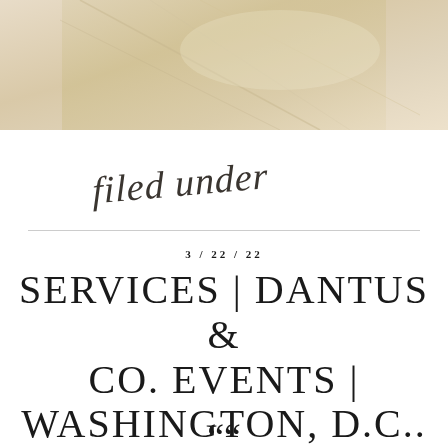[Figure (photo): Close-up photo of ivory/cream colored fabric with soft folds and diagonal crease lines, warm beige tones]
filed under
3/22/22
SERVICES | DANTUS & CO. EVENTS | WASHINGTON, D.C..
““